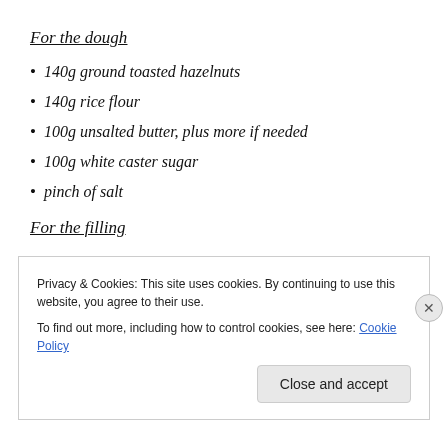For the dough
140g ground toasted hazelnuts
140g rice flour
100g unsalted butter, plus more if needed
100g white caster sugar
pinch of salt
For the filling
60g dark chocolate
Privacy & Cookies: This site uses cookies. By continuing to use this website, you agree to their use.
To find out more, including how to control cookies, see here: Cookie Policy